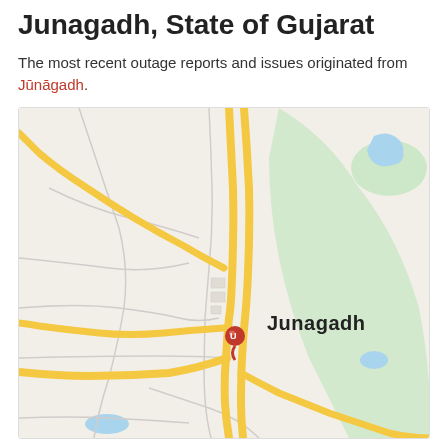Junagadh, State of Gujarat
The most recent outage reports and issues originated from Jūnāgadh.
[Figure (map): A Google Maps style map showing Junagadh city in Gujarat, India. The map shows roads in yellow/orange, a light green hilly/forested area to the right, small water bodies in blue, and a red map pin marker at the center of Junagadh city. The city name 'Junagadh' is labeled in bold black text near the center-right of the map.]